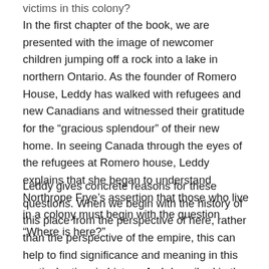victims in this colony?
In the first chapter of the book, we are presented with the image of newcomer children jumping off a rock into a lake in northern Ontario. As the founder of Romero House, Leddy has walked with refugees and new Canadians and witnessed their gratitude for the “gracious splendour” of their new home. In seeing Canada through the eyes of the refugees at Romero house, Leddy explains that she began to understand Northrope Frye’s assertion that those who live in a colony must begin with the question “Where is here?”
Leddy gives concrete reasons for these questions. When we begin with the history of this place from the perspective of here, rather than the perspective of the empire, this can help to find significance and meaning in this particular time in history. As I described in the paragraph about the